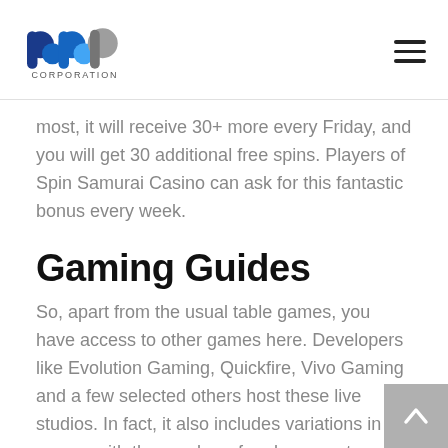BBP Corporation logo and navigation
most, it will receive 30+ more every Friday, and you will get 30 additional free spins. Players of Spin Samurai Casino can ask for this fantastic bonus every week.
Gaming Guides
So, apart from the usual table games, you have access to other games here. Developers like Evolution Gaming, Quickfire, Vivo Gaming and a few selected others host these live studios. In fact, it also includes variations in games with the number of reels, payouts, and other added features. Each slots machine has something interesting to present